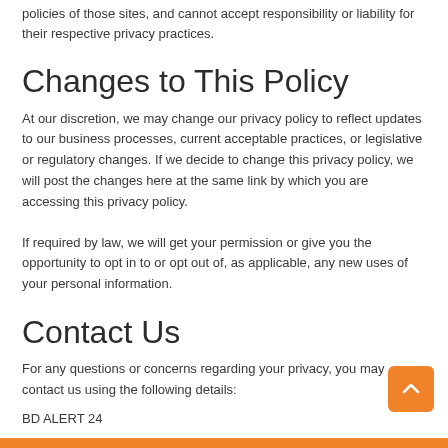policies of those sites, and cannot accept responsibility or liability for their respective privacy practices.
Changes to This Policy
At our discretion, we may change our privacy policy to reflect updates to our business processes, current acceptable practices, or legislative or regulatory changes. If we decide to change this privacy policy, we will post the changes here at the same link by which you are accessing this privacy policy.
If required by law, we will get your permission or give you the opportunity to opt in to or opt out of, as applicable, any new uses of your personal information.
Contact Us
For any questions or concerns regarding your privacy, you may contact us using the following details:
BD ALERT 24